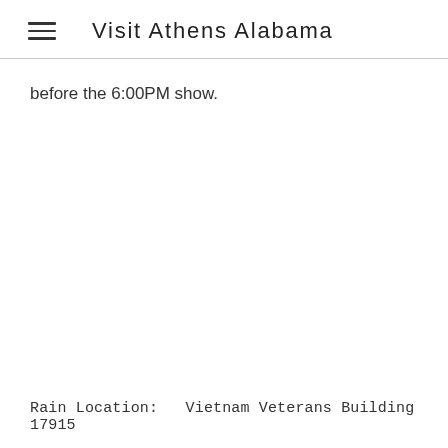Visit Athens Alabama
before the 6:00PM show.
Rain Location:   Vietnam Veterans Building 17915